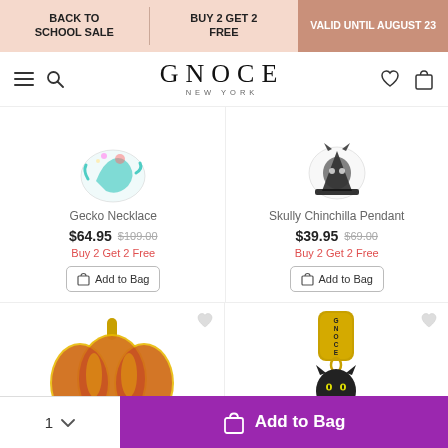BACK TO SCHOOL SALE | BUY 2 GET 2 FREE | VALID UNTIL AUGUST 23
[Figure (logo): GNOCE NEW YORK brand logo with navigation icons (hamburger menu, search, heart, bag)]
[Figure (photo): Gecko Necklace product image - colorful teal gecko jewelry piece partially visible]
Gecko Necklace
$64.95  $109.00
Buy 2 Get 2 Free
Add to Bag
[Figure (photo): Skully Chinchilla Pendant product image - black skull/animal pendant jewelry piece partially visible]
Skully Chinchilla Pendant
$39.95  $69.00
Buy 2 Get 2 Free
Add to Bag
[Figure (photo): Red and gold pumpkin jewelry charm, partially visible at bottom left]
[Figure (photo): Gold GNOCE branded tag with black cat charm, partially visible at bottom right]
1  Add to Bag